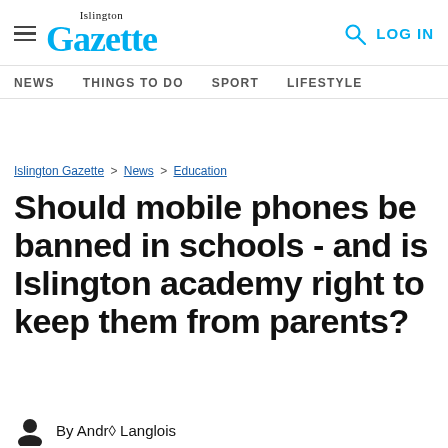Islington Gazette — Navigation: NEWS, THINGS TO DO, SPORT, LIFESTYLE
Islington Gazette > News > Education
Should mobile phones be banned in schools - and is Islington academy right to keep them from parents?
By André Langlois